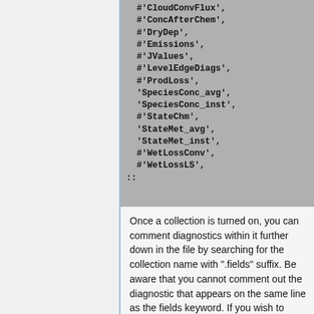[Figure (screenshot): Code block showing a Python/config list of diagnostic collection names including CloudConvFlux, ConcAfterChem, DryDep, Emissions, JValues, LevelEdgeDiags, ProdLoss, SpeciesConc_avg, SpeciesConc_inst, StateChm, StateMet_avg, StateMet_inst, WetLossConv, WetLossLS, followed by a :: line.]
Once a collection is turned on, you can comment diagnostics within it further down in the file by searching for the collection name with ".fields" suffix. Be aware that you cannot comment out the diagnostic that appears on the same line as the fields keyword. If you wish to suppress that specific diagnostic then move it to the next line and replace it with a diagnostic that you want to output.